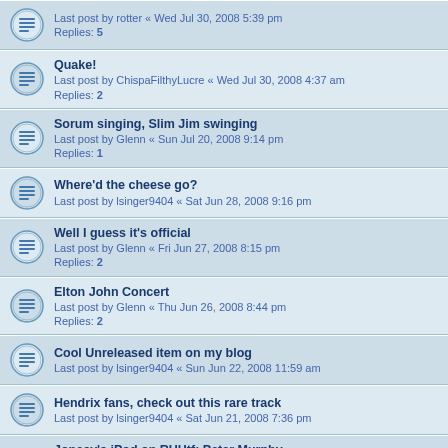Last post by rotter « Wed Jul 30, 2008 5:39 pm
Replies: 5
Quake!
Last post by ChispaFilthyLucre « Wed Jul 30, 2008 4:37 am
Replies: 2
Sorum singing, Slim Jim swinging
Last post by Glenn « Sun Jul 20, 2008 9:14 pm
Replies: 1
Where'd the cheese go?
Last post by lsinger9404 « Sat Jun 28, 2008 9:16 pm
Well I guess it's official
Last post by Glenn « Fri Jun 27, 2008 8:15 pm
Replies: 2
Elton John Concert
Last post by Glenn « Thu Jun 26, 2008 8:44 pm
Replies: 2
Cool Unreleased item on my blog
Last post by lsinger9404 « Sun Jun 22, 2008 11:59 am
Hendrix fans, check out this rare track
Last post by lsinger9404 « Sat Jun 21, 2008 7:36 pm
Jonesy's iPod on RUHtf: Peter Murphy
Last post by lsinger9404 « Sat Jun 21, 2008 7:34 pm
Replies: 3
Sounds funny to me
Last post by Glenn « Thu Jun 19, 2008 11:40 am